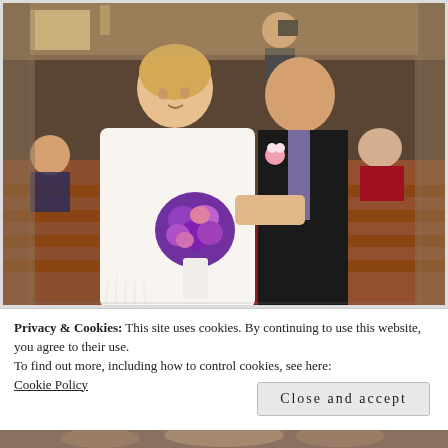[Figure (photo): Wedding photo: a bride in white with a fringed shawl holding a purple bouquet walks arm-in-arm with an older man in a dark suit with a pink boutonniere, proceeding down a church aisle with wooden pews and seated guests on both sides.]
Privacy & Cookies: This site uses cookies. By continuing to use this website, you agree to their use.
To find out more, including how to control cookies, see here:
Cookie Policy
Close and accept
[Figure (photo): Partial view of another wedding photo at the bottom of the page, showing people in formal attire.]